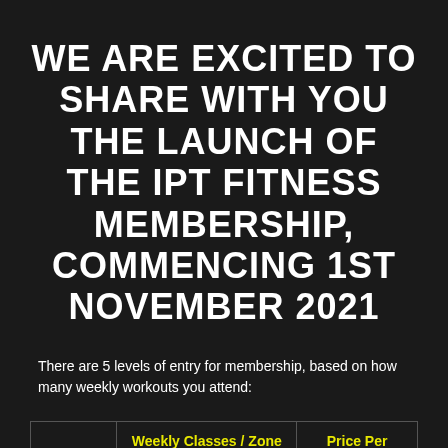WE ARE EXCITED TO SHARE WITH YOU THE LAUNCH OF THE IPT FITNESS MEMBERSHIP, COMMENCING 1ST NOVEMBER 2021
There are 5 levels of entry for membership, based on how many weekly workouts you attend:
|  | Weekly Classes / Zone Bookings per Week | Price Per Month |
| --- | --- | --- |